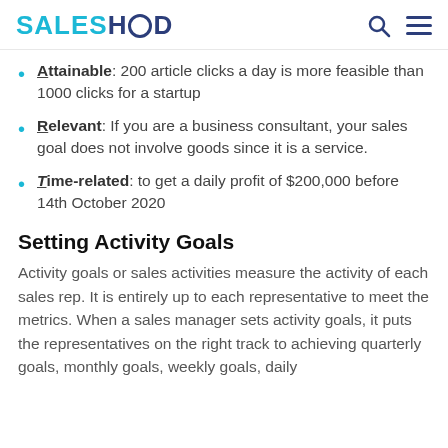SALESHOOD
Attainable: 200 article clicks a day is more feasible than 1000 clicks for a startup
Relevant: If you are a business consultant, your sales goal does not involve goods since it is a service.
Time-related: to get a daily profit of $200,000 before 14th October 2020
Setting Activity Goals
Activity goals or sales activities measure the activity of each sales rep. It is entirely up to each representative to meet the metrics. When a sales manager sets activity goals, it puts the representatives on the right track to achieving quarterly goals, monthly goals, weekly goals, daily